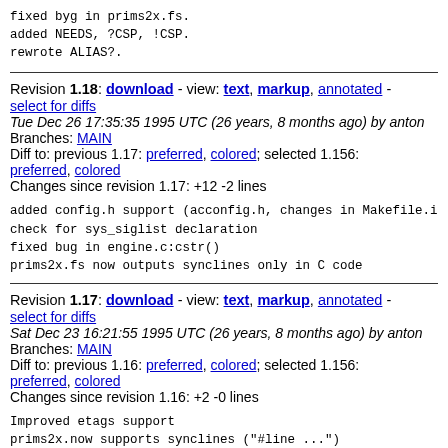fixed byg in prims2x.fs.
added NEEDS, ?CSP, !CSP.
rewrote ALIAS?.
Revision 1.18: download - view: text, markup, annotated - select for diffs
Tue Dec 26 17:35:35 1995 UTC (26 years, 8 months ago) by anton
Branches: MAIN
Diff to: previous 1.17: preferred, colored; selected 1.156: preferred, colored
Changes since revision 1.17: +12 -2 lines
added config.h support (acconfig.h, changes in Makefile.in)
check for sys_siglist declaration
fixed bug in engine.c:cstr()
prims2x.fs now outputs synclines only in C code
Revision 1.17: download - view: text, markup, annotated - select for diffs
Sat Dec 23 16:21:55 1995 UTC (26 years, 8 months ago) by anton
Branches: MAIN
Diff to: previous 1.16: preferred, colored; selected 1.156: preferred, colored
Changes since revision 1.16: +2 -0 lines
Improved etags support
prims2x.now supports synclines ("#line ...")